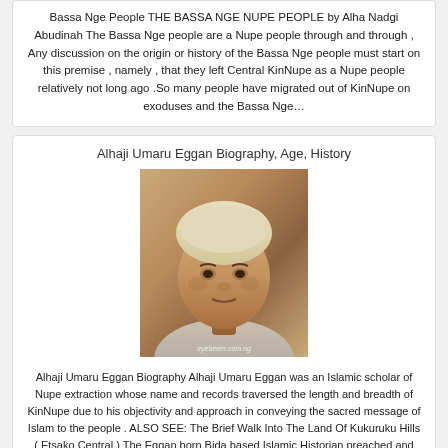Bassa Nge People THE BASSA NGE NUPE PEOPLE by Alha Nadgi Abudinah The Bassa Nge people are a Nupe people through and through , Any discussion on the origin or history of the Bassa Nge people must start on this premise , namely , that they left Central KinNupe as a Nupe people relatively not long ago .So many people have migrated out of KinNupe on exoduses and the Bassa Nge…
Alhaji Umaru Eggan Biography, Age, History
[Figure (photo): Portrait photo of Alhaji Umaru Eggan, an elderly man wearing a white cap, with a watermark reading 'eyebeem.com.ng']
Alhaji Umaru Eggan Biography Alhaji Umaru Eggan was an Islamic scholar of Nupe extraction whose name and records traversed the length and breadth of KinNupe due to his objectivity and approach in conveying the sacred message of Islam to the people . ALSO SEE: The Brief Walk Into The Land Of Kukuruku Hills ( Etsako Central ) The Eggan born Bida based Islamic Historian preached and propagated Islam in KinNupe…